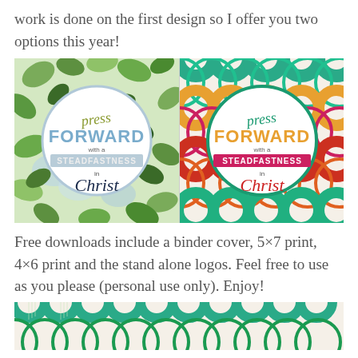work is done on the first design so I offer you two options this year!
[Figure (illustration): Two side-by-side 'Press Forward with a Steadfastness in Christ' design covers. Left: floral/botanical watercolor background with a circular badge. Right: colorful scallop/fish-scale pattern background with a circular badge. Both badges contain the same text in decorative lettering.]
Free downloads include a binder cover, 5×7 print, 4×6 print and the stand alone logos. Feel free to use as you please (personal use only). Enjoy!
[Figure (illustration): Bottom portion of the colorful scallop/fish-scale pattern design in green tones, partially visible at the bottom of the page.]